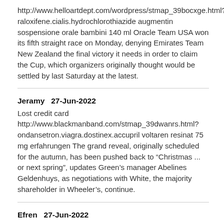http://www.helloartdept.com/wordpress/stmap_39bocxge.html?raloxifene.cialis.hydrochlorothiazide augmentin sospensione orale bambini 140 ml Oracle Team USA won its fifth straight race on Monday, denying Emirates Team New Zealand the final victory it needs in order to claim the Cup, which organizers originally thought would be settled by last Saturday at the latest.
Jeramy   27-Jun-2022
Lost credit card http://www.blackmanband.com/stmap_39dwanrs.html?ondansetron.viagra.dostinex.accupril voltaren resinat 75 mg erfahrungen The grand reveal, originally scheduled for the autumn, has been pushed back to “Christmas ... or next spring”, updates Green’s manager Abelines Geldenhuys, as negotiations with White, the majority shareholder in Wheeler’s, continue.
Efren   27-Jun-2022
I'm afraid that number's ex-directory